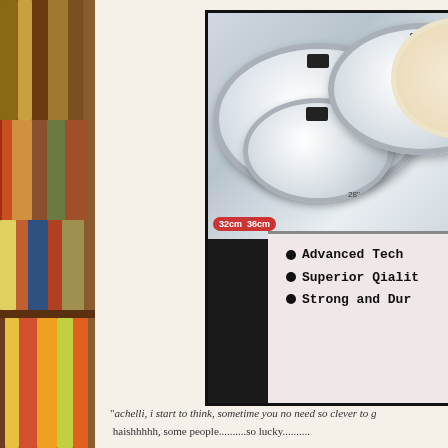[Figure (photo): Product photo showing stainless steel round trays/plates set, labeled '3 Pcs', with sizes 32cm and 36cm shown on a red badge. Features food decoration image. Bottom section shows white/pink background with bullet points: Advanced Tech..., Superior Qialit..., Strong and Dur...]
"achelli, i start to think, sometime you no need so clever to g
haishhhhh, some people..........so lucky..........